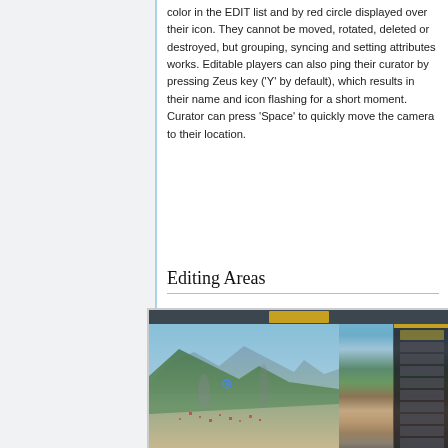color in the EDIT list and by red circle displayed over their icon. They cannot be moved, rotated, deleted or destroyed, but grouping, syncing and setting attributes works. Editable players can also ping their curator by pressing Zeus key ('Y' by default), which results in their name and icon flashing for a short moment. Curator can press 'Space' to quickly move the camera to their location.
Editing Areas
[Figure (screenshot): Screenshot of a game (ArmA 3 Zeus mode) showing an aerial/elevated view of a terrain with mountains, a town, and smoke effects. The game UI is visible with a top toolbar showing a gold/yellow mission timer bar, and a right-side panel with unit/object list.]